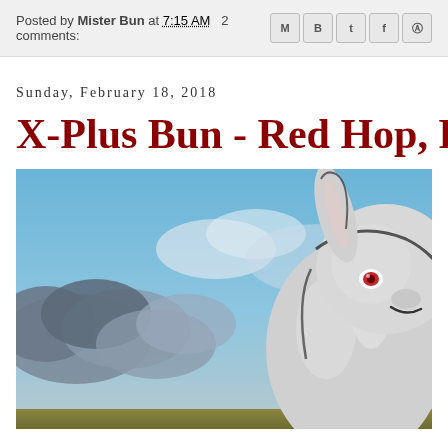Posted by Mister Bun at 7:15 AM   2 comments:
Sunday, February 18, 2018
X-Plus Bun - Red Hop, Pt. 1
[Figure (illustration): Digital painting of a large white rabbit with red eyes, smiling, set against a dramatic blue sky with dark storm clouds. The rabbit appears giant-sized in a field.]